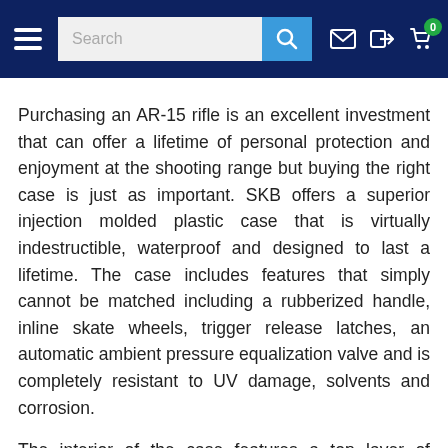Navigation bar with hamburger menu, search box, mail icon, login icon, cart icon with badge 0
Purchasing an AR-15 rifle is an excellent investment that can offer a lifetime of personal protection and enjoyment at the shooting range but buying the right case is just as important. SKB offers a superior injection molded plastic case that is virtually indestructible, waterproof and designed to last a lifetime. The case includes features that simply cannot be matched including a rubberized handle, inline skate wheels, trigger release latches, an automatic ambient pressure equalization valve and is completely resistant to UV damage, solvents and corrosion.
The interior of the case features a top layer of eggshell foam which is ideal for accessories and then two additional thick layers of foam allow for complete storage customization for your gun. All SKB cases use layered foam which will hold up better long term than the cheaper cubed foam you find in many other brands. Need help